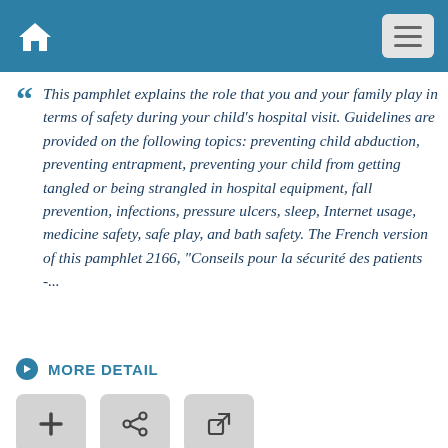This pamphlet explains the role that you and your family play in terms of safety during your child's hospital visit. Guidelines are provided on the following topics: preventing child abduction, preventing entrapment, preventing your child from getting tangled or being strangled in hospital equipment, fall prevention, infections, pressure ulcers, sleep, Internet usage, medicine safety, safe play, and bath safety. The French version of this pamphlet 2166, "Conseils pour la sécurité des patients -...
MORE DETAIL